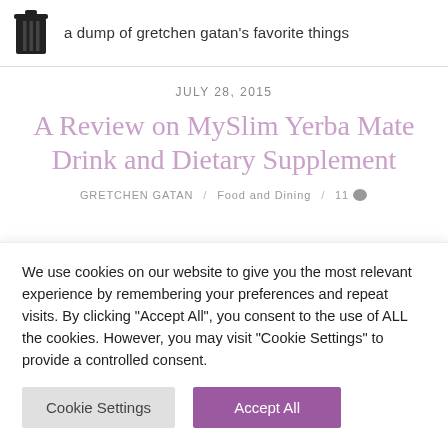a dump of gretchen gatan's favorite things
JULY 28, 2015
A Review on MySlim Yerba Mate Drink and Dietary Supplement
GRETCHEN GATAN / Food and Dining / 11
We use cookies on our website to give you the most relevant experience by remembering your preferences and repeat visits. By clicking "Accept All", you consent to the use of ALL the cookies. However, you may visit "Cookie Settings" to provide a controlled consent.